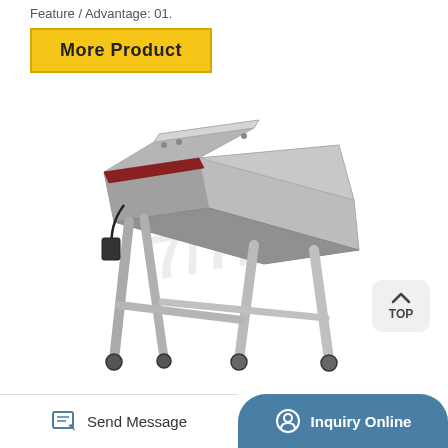Feature / Advantage: 01.
More Product
[Figure (photo): Industrial stainless steel machine (conveyor or processing unit) mounted on a four-legged stainless steel stand with wheels/casters, with a lid open at the top. Watermark text visible in background.]
TOP
Send Message
Inquiry Online